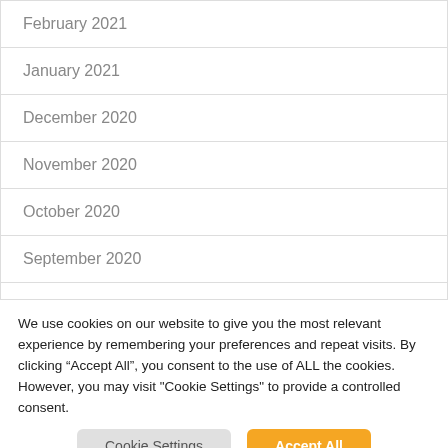February 2021
January 2021
December 2020
November 2020
October 2020
September 2020
We use cookies on our website to give you the most relevant experience by remembering your preferences and repeat visits. By clicking “Accept All”, you consent to the use of ALL the cookies. However, you may visit "Cookie Settings" to provide a controlled consent.